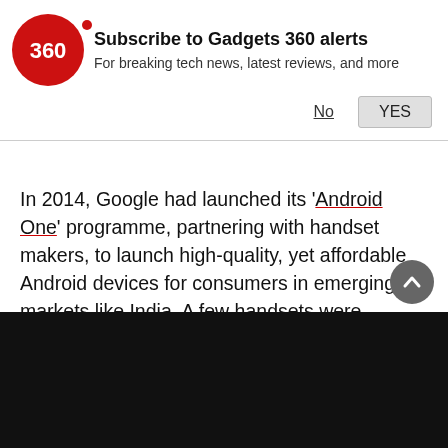[Figure (logo): Gadgets 360 red circle logo with '360' in white text]
Subscribe to Gadgets 360 alerts
For breaking tech news, latest reviews, and more
In 2014, Google had launched its 'Android One' programme, partnering with handset makers, to launch high-quality, yet affordable Android devices for consumers in emerging markets like India. A few handsets were launched with partners like Micromax, Karbonn and Spice.